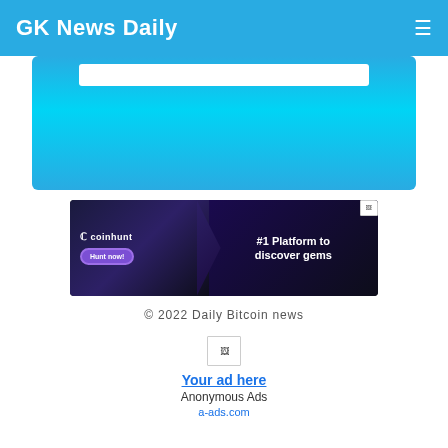GK News Daily
[Figure (screenshot): Blue gradient banner area with white search bar at top]
[Figure (screenshot): Coinhunt advertisement banner: dark background with purple gradient, Coinhunt logo, Hunt now! button, tagline '#1 Platform to discover gems']
© 2022 Daily Bitcoin news
[Figure (screenshot): Anonymous Ads block with ad icon, 'Your ad here' link, 'Anonymous Ads' text, and 'a-ads.com' URL]